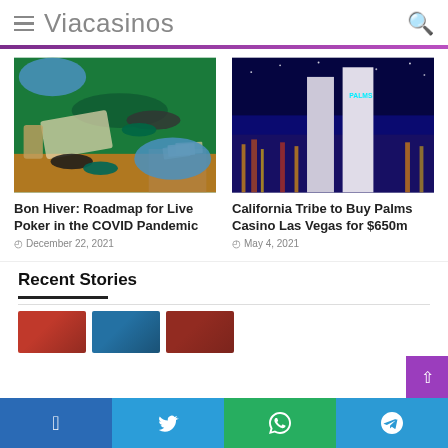Viacasinos
[Figure (photo): Hands with blue gloves dealing poker cards on a green felt casino table with chips and a glass of whiskey]
Bon Hiver: Roadmap for Live Poker in the COVID Pandemic
December 22, 2021
[Figure (photo): Aerial night view of Las Vegas strip with the Palms Casino tower illuminated]
California Tribe to Buy Palms Casino Las Vegas for $650m
May 4, 2021
Recent Stories